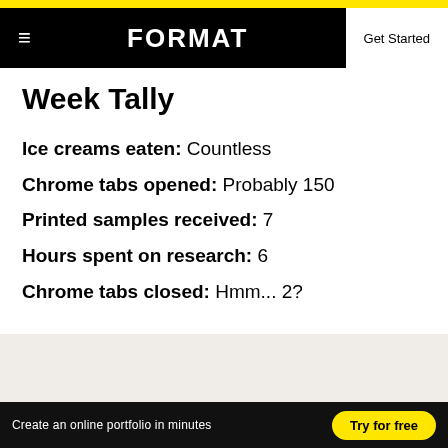FORMAT | Get Started
Week Tally
Ice creams eaten: Countless
Chrome tabs opened: Probably 150
Printed samples received: 7
Hours spent on research: 6
Chrome tabs closed: Hmm... 2?
Create an online portfolio in minutes   Try for free